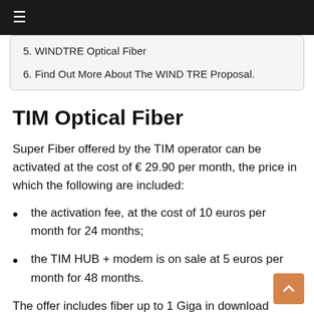≡
5. WINDTRE Optical Fiber
6. Find Out More About The WIND TRE Proposal.
TIM Optical Fiber
Super Fiber offered by the TIM operator can be activated at the cost of € 29.90 per month, the price in which the following are included:
the activation fee, at the cost of 10 euros per month for 24 months;
the TIM HUB + modem is on sale at 5 euros per month for 48 months.
The offer includes fiber up to 1 Giga in download